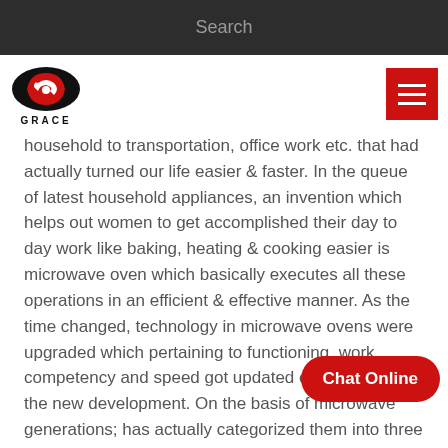Search
[Figure (logo): GRACE company logo with red and black circular arrow emblem and text GRACE below]
household to transportation, office work etc. that had actually turned our life easier & faster. In the queue of latest household appliances, an invention which helps out women to get accomplished their day to day work like baking, heating & cooking easier is microwave oven which basically executes all these operations in an efficient & effective manner. As the time changed, technology in microwave ovens were upgraded which pertaining to functioning, work competency and speed got updated collectively of the new development. On the basis of microwave generations; has actually categorized them into three major classes.The first generation microwave ovens used in order to heat food quickly & proficiently that but suggestive of to bake food, probably the price of the oven was not a lot famous in terms of number of people upper class people would approach Microwave ovens. Then came